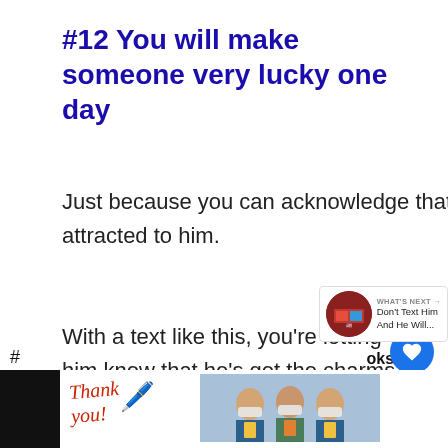#12 You will make someone very lucky one day
Just because you can acknowledge that a man is handsome doesn't mean you're attracted to him.
With a text like this, you're letting him know that he's got the charms, and you are certain there are plenty of women out there who would be more than happy to have him as their boyfriend.
[Figure (screenshot): Advertisement banner at bottom of page showing Operation Gratitude ad with 'Thank you!' text, people holding cards, and Operation Gratitude logo on dark background.]